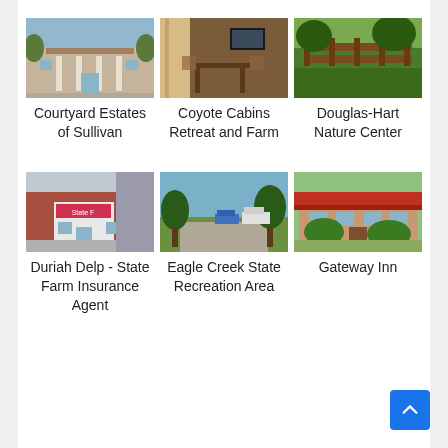[Figure (photo): Photo of Courtyard Estates of Sullivan - building exterior]
Courtyard Estates of Sullivan
[Figure (photo): Photo of Coyote Cabins Retreat and Farm - interior room]
Coyote Cabins Retreat and Farm
[Figure (photo): Photo of Douglas-Hart Nature Center - wooden fence outdoors]
Douglas-Hart Nature Center
[Figure (photo): Photo of Duriah Delp - State Farm Insurance Agent - storefront]
Duriah Delp - State Farm Insurance Agent
[Figure (photo): Photo of Eagle Creek State Recreation Area - outdoor park]
Eagle Creek State Recreation Area
[Figure (photo): Photo of Gateway Inn - building with red roof]
Gateway Inn